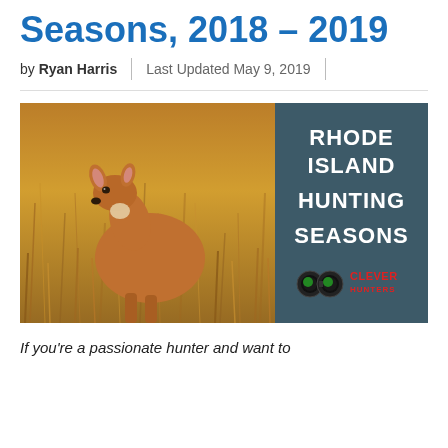Seasons, 2018 – 2019
by Ryan Harris | Last Updated May 9, 2019
[Figure (photo): A deer standing in a golden field of dry grass, alongside a dark teal panel reading RHODE ISLAND HUNTING SEASONS with the Clever Hunters logo]
If you're a passionate hunter and want to